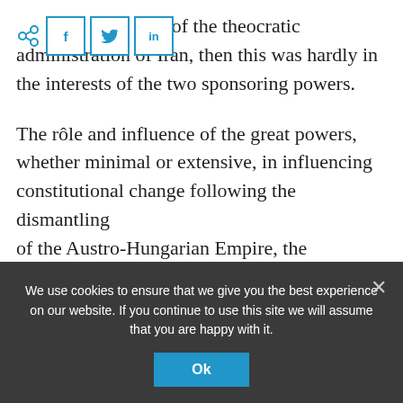[Figure (other): Social share bar with share icon and buttons for Facebook (f), Twitter (bird), and LinkedIn (in)]
S of the theocratic administration of Iran, then this was hardly in the interests of the two sponsoring powers.

The rôle and influence of the great powers, whether minimal or extensive, in influencing constitutional change following the dismantling of the Austro-Hungarian Empire, the revolutions in China and Cuba, the previously-mentioned fall of the Pahlavi Dynasty in Iran, the Marxist [coup in Ethiopia and the fall of the...]
We use cookies to ensure that we give you the best experience on our website. If you continue to use this site we will assume that you are happy with it.